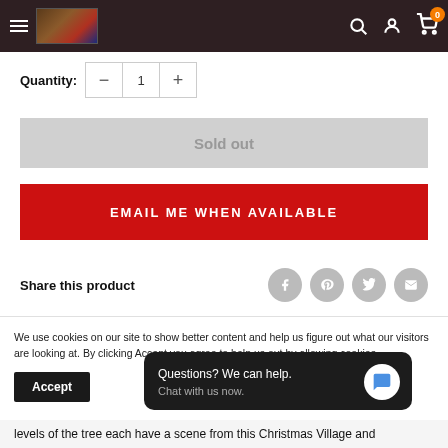Navigation bar with hamburger menu, store logo, search, account, and cart icons
Quantity: — 1 +
Sold out
EMAIL ME WHEN AVAILABLE
Share this product
We use cookies on our site to show better content and help us figure out what our visitors are looking at. By clicking Accept you agree to help us out by allowing cookies.
Accept
Questions? We can help. Chat with us now.
levels of the tree each have a scene from this Christmas Village and